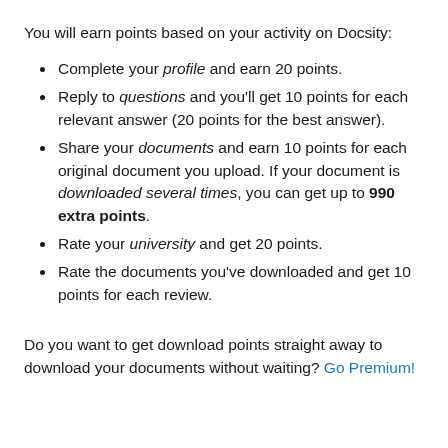You will earn points based on your activity on Docsity:
Complete your profile and earn 20 points.
Reply to questions and you'll get 10 points for each relevant answer (20 points for the best answer).
Share your documents and earn 10 points for each original document you upload. If your document is downloaded several times, you can get up to 990 extra points.
Rate your university and get 20 points.
Rate the documents you've downloaded and get 10 points for each review.
Do you want to get download points straight away to download your documents without waiting? Go Premium!